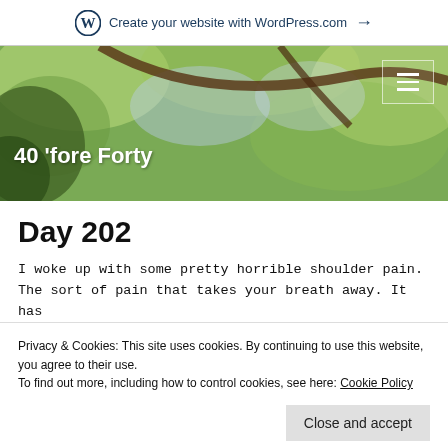Create your website with WordPress.com →
[Figure (photo): Hero image of green foliage and tree branches with site title '40 'fore Forty' overlaid in white bold text and a hamburger menu icon in the top right corner]
Day 202
I woke up with some pretty horrible shoulder pain. The sort of pain that takes your breath away. It has lingered all day, only getting brief moments of relief
Privacy & Cookies: This site uses cookies. By continuing to use this website, you agree to their use.
To find out more, including how to control cookies, see here: Cookie Policy
eat. Although, I think the snake I did was poisonous,